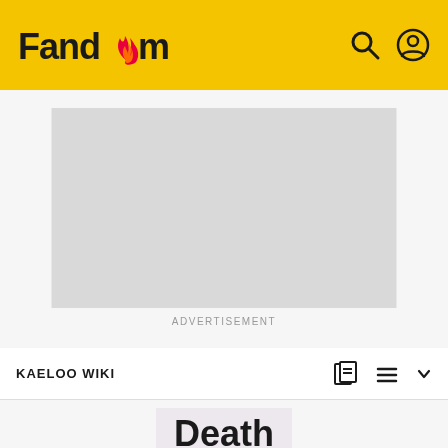Fandom
[Figure (other): Advertisement placeholder (gray rectangle)]
ADVERTISEMENT
KAELOO WIKI
Death